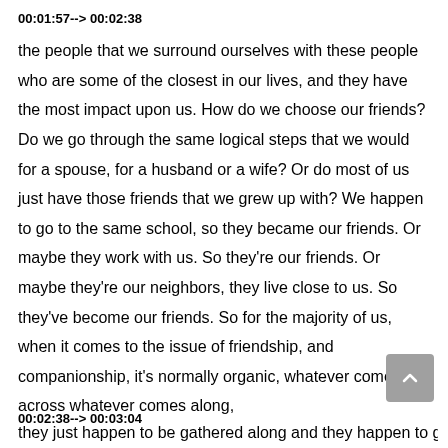00:01:57--> 00:02:38
the people that we surround ourselves with these people who are some of the closest in our lives, and they have the most impact upon us. How do we choose our friends? Do we go through the same logical steps that we would for a spouse, for a husband or a wife? Or do most of us just have those friends that we grew up with? We happen to go to the same school, so they became our friends. Or maybe they work with us. So they're our friends. Or maybe they're our neighbors, they live close to us. So they've become our friends. So for the majority of us, when it comes to the issue of friendship, and companionship, it's normally organic, whatever comes across whatever comes along,
00:02:38--> 00:03:04
they just happen to be gathered along and they happen to go along